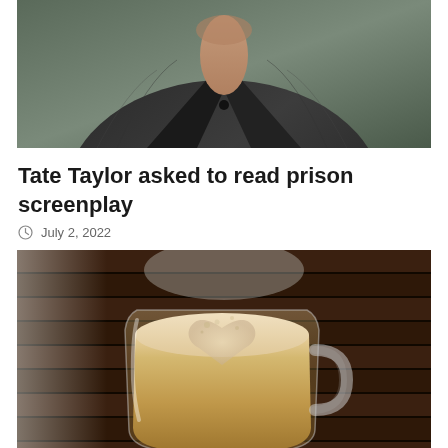[Figure (photo): Cropped photo of a person wearing a dark jacket, showing neck and collar area]
Tate Taylor asked to read prison screenplay
July 2, 2022
[Figure (photo): Photo of a glass cup of latte coffee with latte art (heart shape) on a wooden slatted surface]